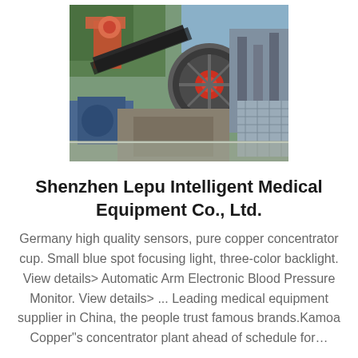[Figure (photo): Industrial mining/concentrator machinery equipment photo showing large mechanical components, conveyor belts, metal structures and machinery in an outdoor industrial setting]
Shenzhen Lepu Intelligent Medical Equipment Co., Ltd.
Germany high quality sensors, pure copper concentrator cup. Small blue spot focusing light, three-color backlight. View details> Automatic Arm Electronic Blood Pressure Monitor. View details> ... Leading medical equipment supplier in China, the people trust famous brands.Kamoa Copper"s concentrator plant ahead of schedule for...
inquiry@shanghaimeilan